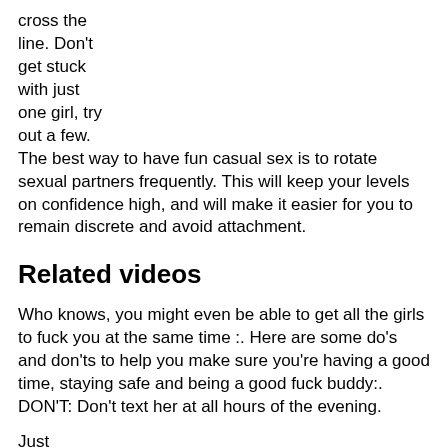cross the line. Don't get stuck with just one girl, try out a few. The best way to have fun casual sex is to rotate sexual partners frequently. This will keep your levels on confidence high, and will make it easier for you to remain discrete and avoid attachment.
Related videos
Who knows, you might even be able to get all the girls to fuck you at the same time :. Here are some do's and don'ts to help you make sure you're having a good time, staying safe and being a good fuck buddy:. DON'T: Don't text her at all hours of the evening.
Just